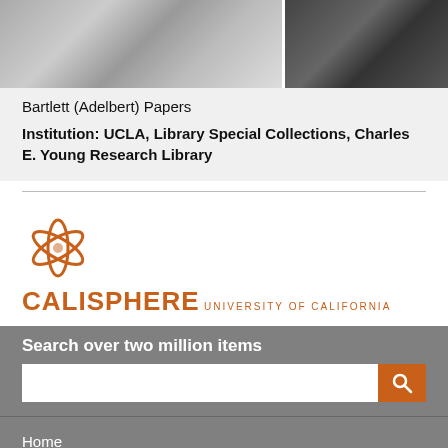[Figure (photo): Two black and white photographs at the top: left shows a person with papers, right shows a dark interior scene]
Bartlett (Adelbert) Papers
Institution: UCLA, Library Special Collections, Charles E. Young Research Library
[Figure (logo): Calisphere University of California logo with orange circular swoosh icon and text]
Search over two million items
Home
About Calisphere
Contributing Institutions